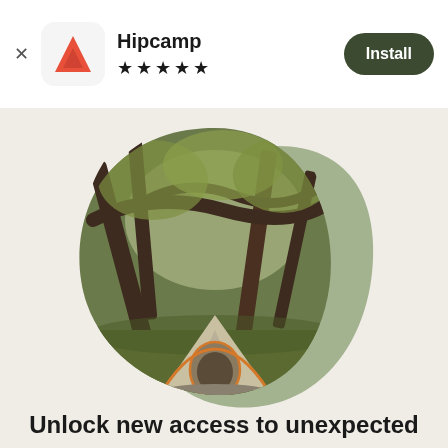[Figure (screenshot): App install banner for Hipcamp showing logo, 5-star rating, and Install button]
[Figure (photo): A camping tent beneath large spreading oak trees in a forest, shown in a rounded blob/teardrop shape with a sage green decorative background blob]
Unlock new access to unexpected